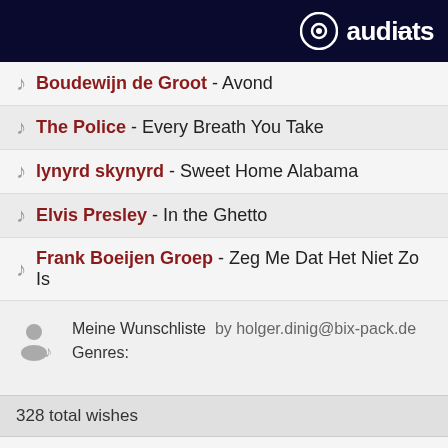audiats
Boudewijn de Groot - Avond
The Police - Every Breath You Take
lynyrd skynyrd - Sweet Home Alabama
Elvis Presley - In the Ghetto
Frank Boeijen Groep - Zeg Me Dat Het Niet Zo Is
Meine Wunschliste by holger.dinig@bix-pack.de
Genres:
328 total wishes
Oleta Adams